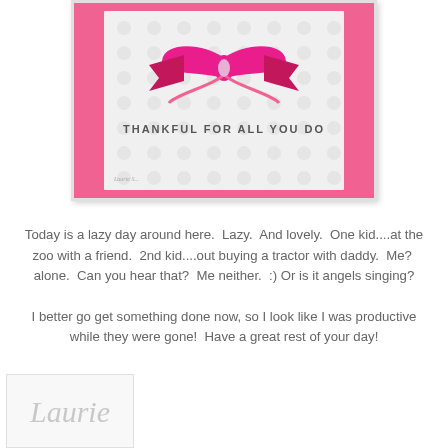[Figure (photo): Handmade greeting card with pink bow decoration on white polka dot background, stamped with 'THANKFUL FOR ALL YOU DO']
Today is a lazy day around here.  Lazy.  And lovely.  One kid....at the zoo with a friend.  2nd kid....out buying a tractor with daddy.  Me?  alone.  Can you hear that?  Me neither.  :)  Or is it angels singing?
I better go get something done now, so I look like I was productive while they were gone!  Have a great rest of your day!
[Figure (illustration): Handwritten cursive signature reading 'Laurie' in light gray on white background]